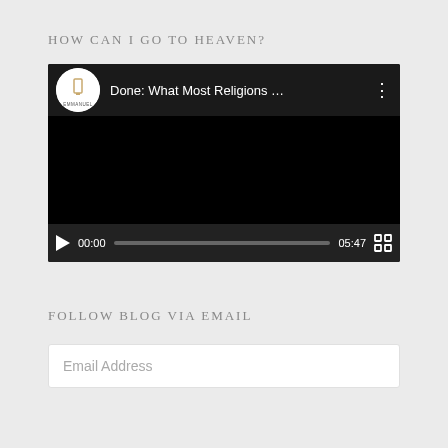HOW CAN I GO TO HEAVEN?
[Figure (screenshot): Embedded video player showing 'Done: What Most Religions ...' by Emmanuel channel. Black video area with controls showing 00:00 current time and 05:47 total duration, with play button and progress bar.]
FOLLOW BLOG VIA EMAIL
Email Address